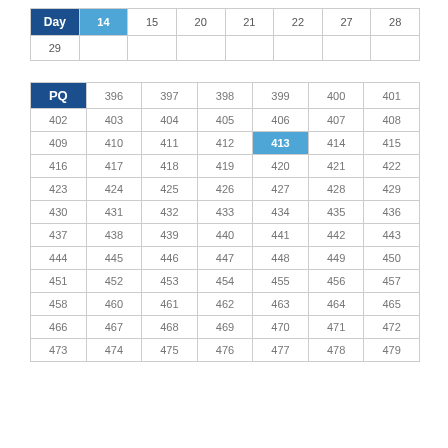| Day | 14 | 15 | 20 | 21 | 22 | 27 | 28 |
| --- | --- | --- | --- | --- | --- | --- | --- |
| 29 |  |  |  |  |  |  |  |
| PQ | 396 | 397 | 398 | 399 | 400 | 401 |
| --- | --- | --- | --- | --- | --- | --- |
| 402 | 403 | 404 | 405 | 406 | 407 | 408 |
| 409 | 410 | 411 | 412 | 413 | 414 | 415 |
| 416 | 417 | 418 | 419 | 420 | 421 | 422 |
| 423 | 424 | 425 | 426 | 427 | 428 | 429 |
| 430 | 431 | 432 | 433 | 434 | 435 | 436 |
| 437 | 438 | 439 | 440 | 441 | 442 | 443 |
| 444 | 445 | 446 | 447 | 448 | 449 | 450 |
| 451 | 452 | 453 | 454 | 455 | 456 | 457 |
| 458 | 460 | 461 | 462 | 463 | 464 | 465 |
| 466 | 467 | 468 | 469 | 470 | 471 | 472 |
| 473 | 474 | 475 | 476 | 477 | 478 | 479 |